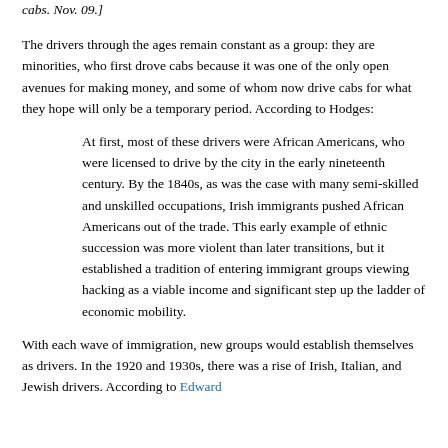cabs. Nov. 09.]
The drivers through the ages remain constant as a group: they are minorities, who first drove cabs because it was one of the only open avenues for making money, and some of whom now drive cabs for what they hope will only be a temporary period. According to Hodges:
At first, most of these drivers were African Americans, who were licensed to drive by the city in the early nineteenth century. By the 1840s, as was the case with many semi-skilled and unskilled occupations, Irish immigrants pushed African Americans out of the trade. This early example of ethnic succession was more violent than later transitions, but it established a tradition of entering immigrant groups viewing hacking as a viable income and significant step up the ladder of economic mobility.
With each wave of immigration, new groups would establish themselves as drivers. In the 1920 and 1930s, there was a rise of Irish, Italian, and Jewish drivers. According to Edward